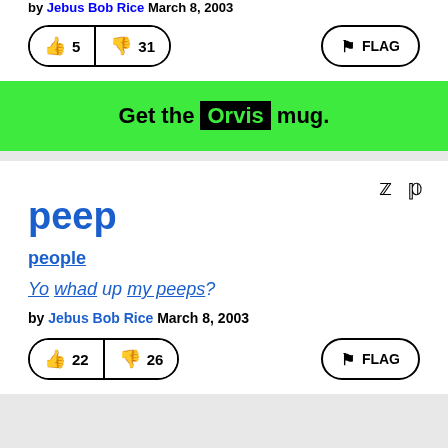by Jebus Bob Rice March 8, 2003
[Figure (other): Vote buttons: thumbs up 5, thumbs down 31, and FLAG button]
[Figure (other): Green ad banner: Get the Orvis mug.]
peep
people
Yo whad up my peeps?
by Jebus Bob Rice March 8, 2003
[Figure (other): Vote buttons: thumbs up 22, thumbs down 26, and FLAG button]